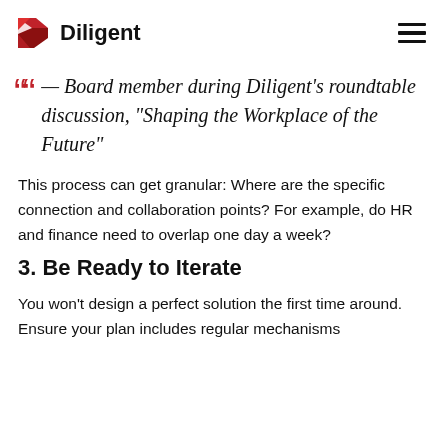Diligent
— Board member during Diligent's roundtable discussion, "Shaping the Workplace of the Future"
This process can get granular: Where are the specific connection and collaboration points? For example, do HR and finance need to overlap one day a week?
3. Be Ready to Iterate
You won't design a perfect solution the first time around. Ensure your plan includes regular mechanisms